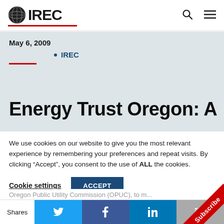IREC
May 6, 2009
IREC
Energy Trust Oregon: A
We use cookies on our website to give you the most relevant experience by remembering your preferences and repeat visits. By clicking “Accept”, you consent to the use of ALL the cookies.
Cookie settings   ACCEPT
Oregon Public Utility Commission (OPUC), to m...
Shares